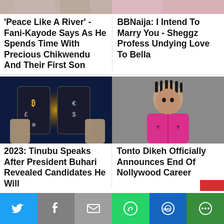[Figure (photo): Top left partial image of people]
[Figure (photo): Top right partial image of person in pink]
‘Peace Like A River’ - Fani-Kayode Says As He Spends Time With Precious Chikwendu And Their First Son
BBNaija: I Intend To Marry You - Sheggz Profess Undying Love To Bella
[Figure (photo): Hands holding phone with crypto currency symbols and golden network light]
[Figure (photo): Young man in pink jacket with dreadlocks against grey background]
2023: Tinubu Speaks After President Buhari Revealed Candidates He Will
Tonto Dikeh Officially Announces End Of Nollywood Career
Twitter | Facebook | Email | WhatsApp | SMS | More